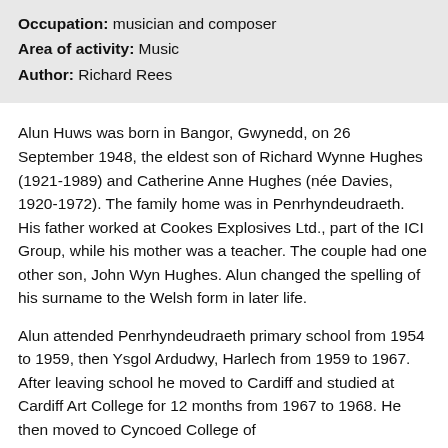Occupation: musician and composer
Area of activity: Music
Author: Richard Rees
Alun Huws was born in Bangor, Gwynedd, on 26 September 1948, the eldest son of Richard Wynne Hughes (1921-1989) and Catherine Anne Hughes (née Davies, 1920-1972). The family home was in Penrhyndeudraeth. His father worked at Cookes Explosives Ltd., part of the ICI Group, while his mother was a teacher. The couple had one other son, John Wyn Hughes. Alun changed the spelling of his surname to the Welsh form in later life.
Alun attended Penrhyndeudraeth primary school from 1954 to 1959, then Ysgol Ardudwy, Harlech from 1959 to 1967. After leaving school he moved to Cardiff and studied at Cardiff Art College for 12 months from 1967 to 1968. He then moved to Cyncoed College of